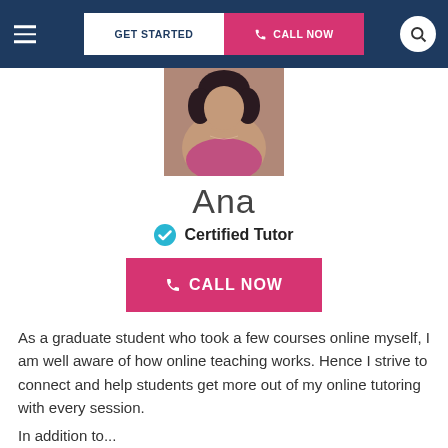[Figure (screenshot): Navigation bar with hamburger menu, GET STARTED and CALL NOW buttons, and search icon on dark navy background]
[Figure (photo): Profile photo of tutor Ana, cropped showing face and shoulders]
Ana
✓ Certified Tutor
CALL NOW
As a graduate student who took a few courses online myself, I am well aware of how online teaching works. Hence I strive to connect and help students get more out of my online tutoring with every session.
In addition to...